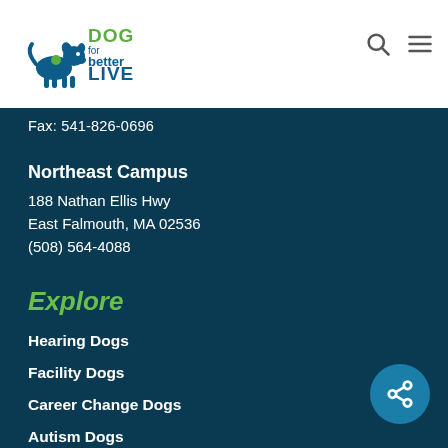[Figure (logo): Dogs for Better Lives logo with dog silhouette and green/blue text]
Fax: 541-826-0696
Northeast Campus
188 Nathan Ellis Hwy
East Falmouth, MA 02536
(508) 564-4088
Explore
Hearing Dogs
Facility Dogs
Career Change Dogs
Autism Dogs
DBL Blog